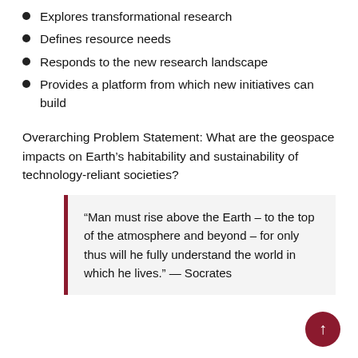Explores transformational research
Defines resource needs
Responds to the new research landscape
Provides a platform from which new initiatives can build
Overarching Problem Statement: What are the geospace impacts on Earth’s habitability and sustainability of technology-reliant societies?
“Man must rise above the Earth – to the top of the atmosphere and beyond – for only thus will he fully understand the world in which he lives.” — Socrates